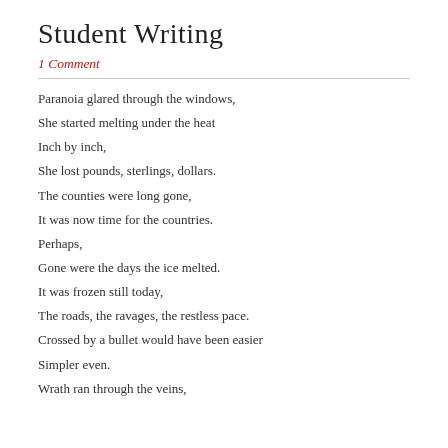Student Writing
1 Comment
Paranoia glared through the windows,
She started melting under the heat
Inch by inch,
She lost pounds, sterlings, dollars.
The counties were long gone,
It was now time for the countries.
Perhaps,
Gone were the days the ice melted.
It was frozen still today,
The roads, the ravages, the restless pace.
Crossed by a bullet would have been easier
Simpler even.
Wrath ran through the veins,